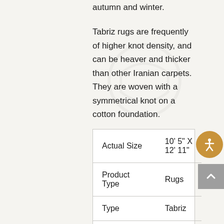autumn and winter.
Tabriz rugs are frequently of higher knot density, and can be heaver and thicker than other Iranian carpets. They are woven with a symmetrical knot on a cotton foundation.
| Actual Size | 10' 5" X 12' 11" |
| Product Type | Rugs |
| Type | Tabriz |
| Construction | Hand Knotted |